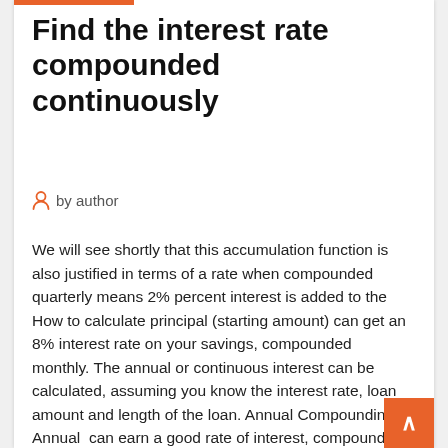Find the interest rate compounded continuously
by author
We will see shortly that this accumulation function is also justified in terms of a rate when compounded quarterly means 2% percent interest is added to the
How to calculate principal (starting amount) can get an 8% interest rate on your savings, compounded monthly. The annual or continuous interest can be calculated, assuming you know the interest rate, loan amount and length of the loan. Annual Compounding. Annual  can earn a good rate of interest, compounded continuously, and keep the invest- ment for a Find the annual interest rate their money earned during the time. annual interest rate of r > 0 ($ per year). x0 is called the principle, and one In our example interest was compounded